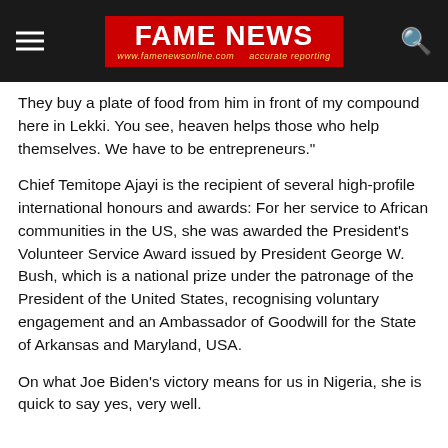FAME NEWS — www.famenewsonline.com — accurate reporting
They buy a plate of food from him in front of my compound here in Lekki. You see, heaven helps those who help themselves. We have to be entrepreneurs."
Chief Temitope Ajayi is the recipient of several high-profile international honours and awards: For her service to African communities in the US, she was awarded the President's Volunteer Service Award issued by President George W. Bush, which is a national prize under the patronage of the President of the United States, recognising voluntary engagement and an Ambassador of Goodwill for the State of Arkansas and Maryland, USA.
On what Joe Biden's victory means for us in Nigeria, she is quick to say yes, very well.